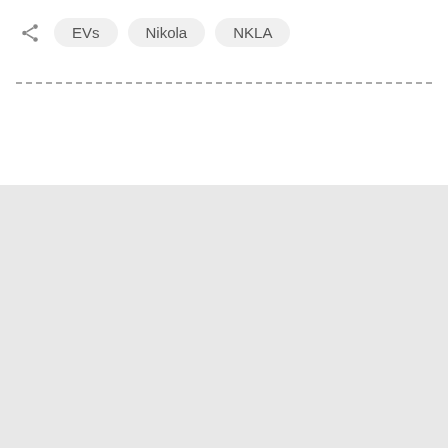EVs  Nikola  NKLA
[Figure (other): Light gray background section filling the lower half of the page]